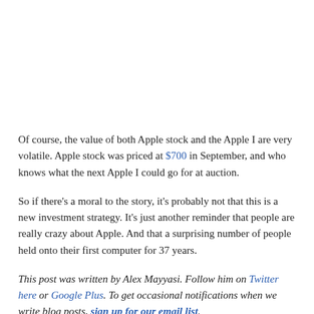Of course, the value of both Apple stock and the Apple I are very volatile. Apple stock was priced at $700 in September, and who knows what the next Apple I could go for at auction.
So if there's a moral to the story, it's probably not that this is a new investment strategy. It's just another reminder that people are really crazy about Apple. And that a surprising number of people held onto their first computer for 37 years.
This post was written by Alex Mayyasi. Follow him on Twitter here or Google Plus. To get occasional notifications when we write blog posts, sign up for our email list.